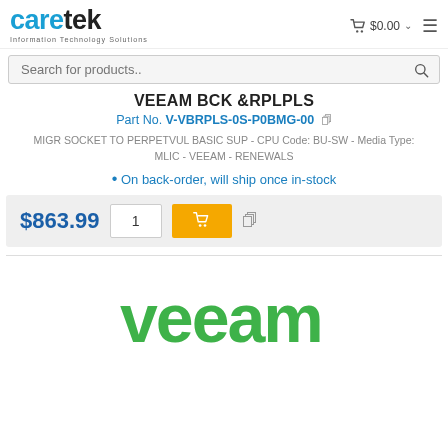caretek Information Technology Solutions
Search for products..
VEEAM BCK &RPLPLS
Part No. V-VBRPLS-0S-P0BMG-00
MIGR SOCKET TO PERPETVUL BASIC SUP - CPU Code: BU-SW - Media Type: MLIC - VEEAM - RENEWALS
On back-order, will ship once in-stock
$863.99
[Figure (logo): Veeam logo in green text]